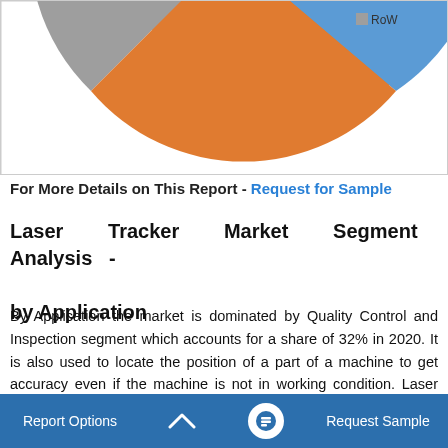[Figure (pie-chart): Partial pie chart showing market segments including RoW (gray), orange, and blue slices. Only the lower portion of the chart is visible.]
For More Details on This Report - Request for Sample
Laser Tracker Market Segment Analysis - by Application
By Application the market is dominated by Quality Control and Inspection segment which accounts for a share of 32% in 2020. It is also used to locate the position of a part of a machine to get accuracy even if the machine is not in working condition. Laser Trackers can also be used for 3D error mapping of all aircraft machine's major axes. In April 2019, API Metrology announced the launch of
Report Options   ^   Request Sample